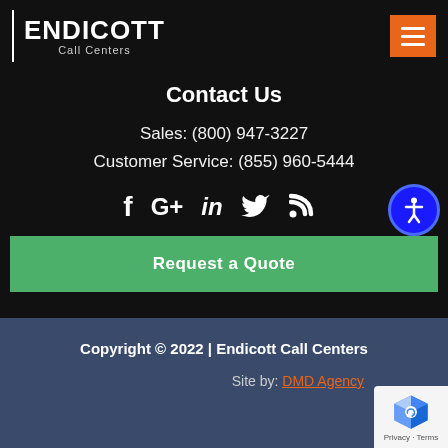[Figure (logo): Endicott Call Centers logo — white vertical bar, ENDICOTT in bold white, Call Centers in smaller text below]
[Figure (other): Orange hamburger menu button with three white horizontal lines]
Contact Us
Sales: (800) 947-3227
Customer Service: (855) 960-5444
[Figure (other): Social media icons row: Facebook, Google+, LinkedIn, Twitter, RSS feed. Accessibility button on right.]
Request a Quote
Copyright © 2022 | Endicott Call Centers
Site by: DMD Agency